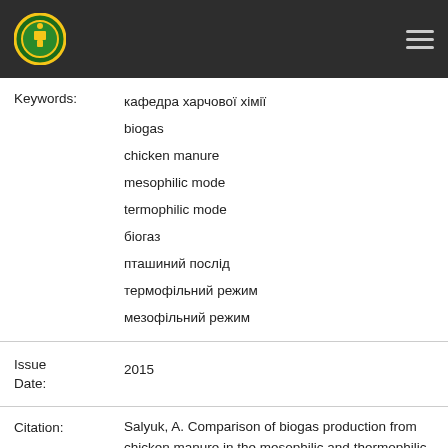[University logo and navigation bar]
Keywords: кафедра харчової хімії
biogas
chicken manure
mesophilic mode
termophilic mode
біогаз
пташиний послід
термофільний режим
мезофільний режим
Issue Date: 2015
Citation: Salyuk, A. Comparison of biogas production from chicken manure in the mesophilic and thermophilic modes / A. Salyuk, S. Zhadan, E. Shapovalov // Біотехнологія: звершення та надії : збірник тез ІУ Всеукраїнської науково-практичної конференції студентів, аспірантів та молодих вчених, 21-22 травня 2015 року, м.Київ. – Київ : ВЦ НУБіП України